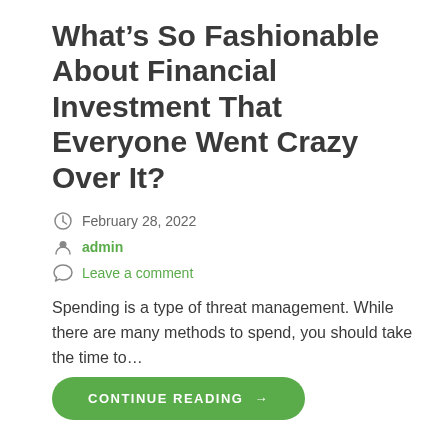What’s So Fashionable About Financial Investment That Everyone Went Crazy Over It?
February 28, 2022
admin
Leave a comment
Spending is a type of threat management. While there are many methods to spend, you should take the time to…
CONTINUE READING →